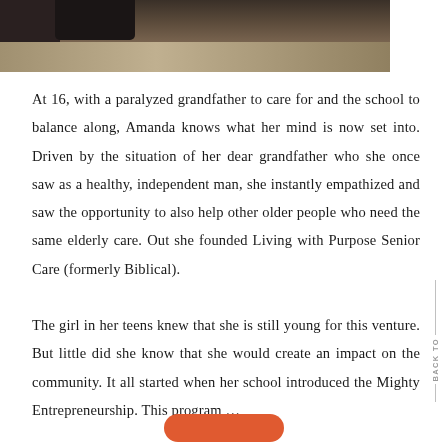[Figure (photo): Top portion of a photo showing a person's feet/legs near furniture on a wooden floor, partially cropped]
At 16, with a paralyzed grandfather to care for and the school to balance along, Amanda knows what her mind is now set into. Driven by the situation of her dear grandfather who she once saw as a healthy, independent man, she instantly empathized and saw the opportunity to also help other older people who need the same elderly care. Out she founded Living with Purpose Senior Care (formerly Biblical).
The girl in her teens knew that she is still young for this venture. But little did she know that she would create an impact on the community. It all started when her school introduced the Mighty Entrepreneurship. This program …